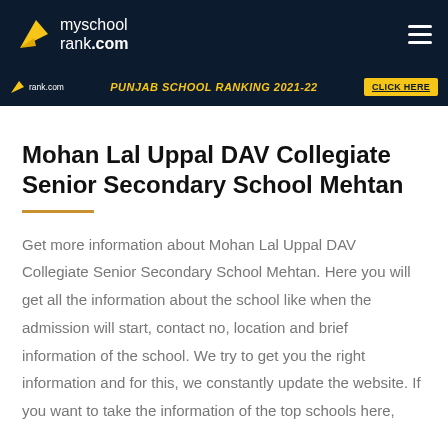myschool rank.com
[Figure (screenshot): myschoolrank.com banner with Punjab School Ranking 2021-22 and CLICK HERE button]
Mohan Lal Uppal DAV Collegiate Senior Secondary School Mehtan
Get more information about Mohan Lal Uppal DAV Collegiate Senior Secondary School Mehtan. Here you will get all the information about the school like when the admission will start, contact no, location and brief information of the school. We try to get you the right information and for this, we constantly update the website. If you want to take the information of the top schools here,